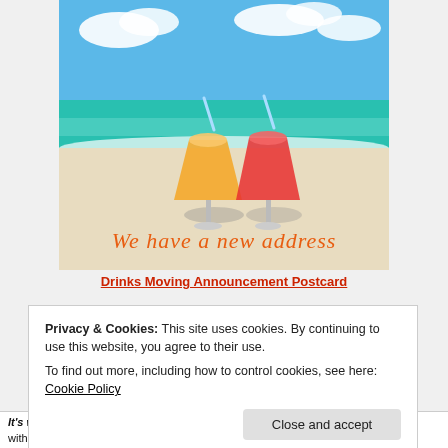[Figure (photo): Beach scene postcard with two tropical cocktail drinks (orange and red) on white sand, turquoise ocean and blue sky in background, with cursive orange text overlay reading 'We have a new address']
Drinks Moving Announcement Postcard
Privacy & Cookies: This site uses cookies. By continuing to use this website, you agree to their use.
To find out more, including how to control cookies, see here: Cookie Policy
Close and accept
It's week old. I just passed my 60th. You know I only count by Tuesdays. The site has a gorgeous and the series lots of